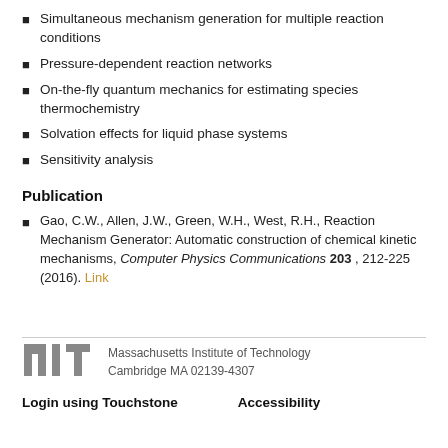Simultaneous mechanism generation for multiple reaction conditions
Pressure-dependent reaction networks
On-the-fly quantum mechanics for estimating species thermochemistry
Solvation effects for liquid phase systems
Sensitivity analysis
Publication
Gao, C.W., Allen, J.W., Green, W.H., West, R.H., Reaction Mechanism Generator: Automatic construction of chemical kinetic mechanisms, Computer Physics Communications 203 , 212-225 (2016). Link
[Figure (logo): MIT logo — stylized text 'MIT' in gray block letterforms]
Massachusetts Institute of Technology
Cambridge MA 02139-4307
Login using Touchstone    Accessibility